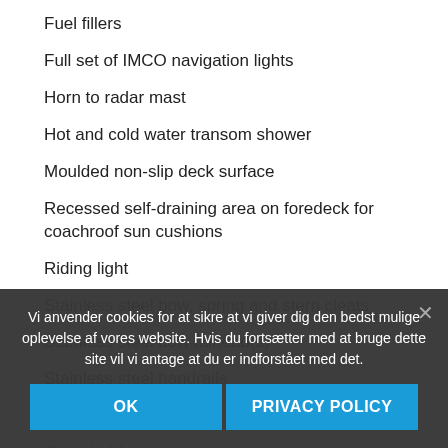Fuel fillers
Full set of IMCO navigation lights
Horn to radar mast
Hot and cold water transom shower
Moulded non-slip deck surface
Recessed self-draining area on foredeck for coachroof sun cushions
Riding light
Stainless steel bow, spring and stern cleats
Stainless steel bow fairlead(s)
Stainless steel handrails
Stainless steel pulpit
Swim ladder
Teak laid bathing platform
Toughened...
Transom... platform
Vi anvender cookies for at sikre at vi giver dig den bedst mulige oplevelse af vores website. Hvis du fortsætter med at bruge dette site vil vi antage at du er indforstået med det.